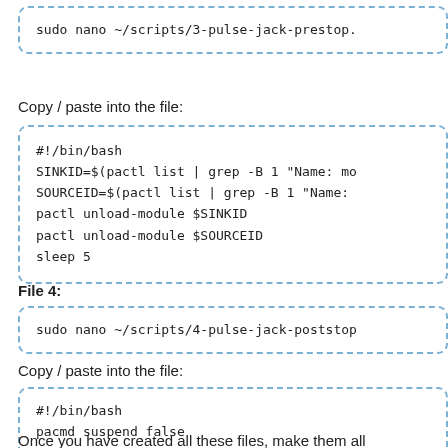sudo nano ~/scripts/3-pulse-jack-prestop.
Copy / paste into the file:
#!/bin/bash
SINKID=$(pactl list | grep -B 1 "Name: mo
SOURCEID=$(pactl list | grep -B 1 "Name: 
pactl unload-module $SINKID
pactl unload-module $SOURCEID
sleep 5
File 4:
sudo nano ~/scripts/4-pulse-jack-poststop
Copy / paste into the file:
#!/bin/bash
pacmd suspend false
Once you have created all these files, make them all executable: